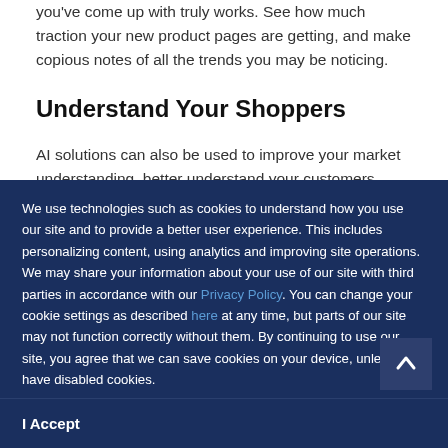you've come up with truly works. See how much traction your new product pages are getting, and make copious notes of all the trends you may be noticing.
Understand Your Shoppers
AI solutions can also be used to improve your market understanding, better understand your customers,
We use technologies such as cookies to understand how you use our site and to provide a better user experience. This includes personalizing content, using analytics and improving site operations. We may share your information about your use of our site with third parties in accordance with our Privacy Policy. You can change your cookie settings as described here at any time, but parts of our site may not function correctly without them. By continuing to use our site, you agree that we can save cookies on your device, unless you have disabled cookies.
I Accept